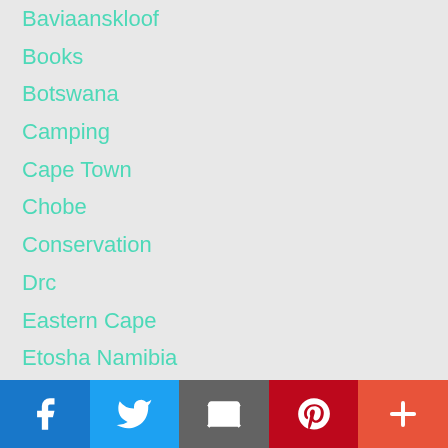Baviaanskloof
Books
Botswana
Camping
Cape Town
Chobe
Conservation
Drc
Eastern Cape
Etosha Namibia
Food
Free State
Garden Route
Gauteng
Issues
Kalahari
Karoo
[Figure (infographic): Social sharing bar with Facebook, Twitter, Email, Pinterest, and More buttons]